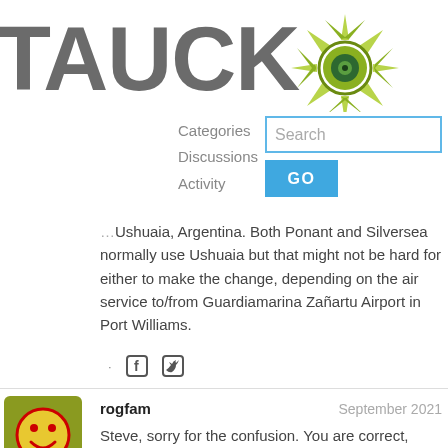TAUCK
[Figure (logo): Tauck compass logo - green spiky compass rose with circular center]
Categories
Discussions
Activity
Search
GO
...Ushuaia, Argentina. Both Ponant and Silversea normally use Ushuaia but that might not be hard for either to make the change, depending on the air service to/from Guardiamarina Zañartu Airport in Port Williams.
rogfam
September 2021
Steve, sorry for the confusion. You are correct, Silversea is not used by Tauck. They do their